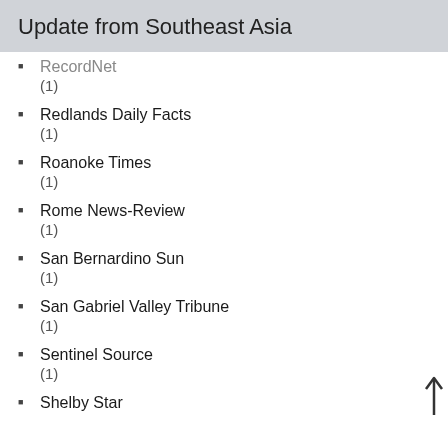Update from Southeast Asia
RecordNet
(1)
Redlands Daily Facts
(1)
Roanoke Times
(1)
Rome News-Review
(1)
San Bernardino Sun
(1)
San Gabriel Valley Tribune
(1)
Sentinel Source
(1)
Shelby Star